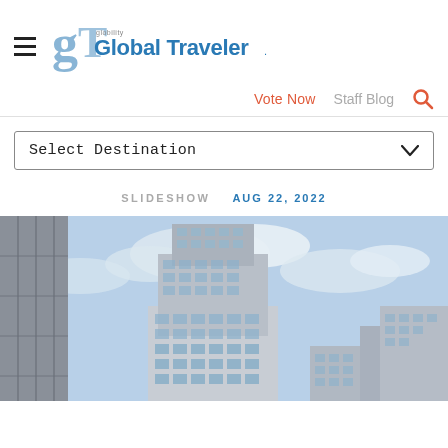Global Traveler
Vote Now   Staff Blog
Select Destination
SLIDESHOW   AUG 22, 2022
[Figure (photo): Tall modern glass skyscraper hotel tower against a partly cloudy blue sky, with a building facade visible on the left side.]